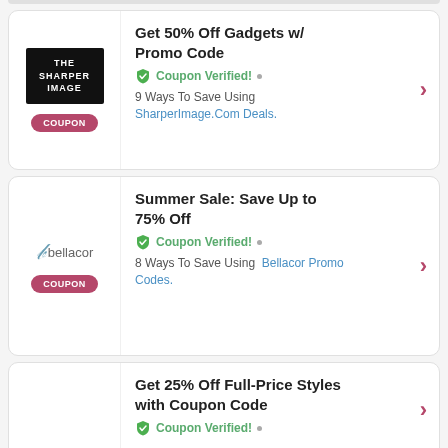[Figure (other): Coupon card for The Sharper Image: Get 50% Off Gadgets w/ Promo Code. Coupon Verified. 9 Ways To Save Using SharperImage.Com Deals.]
[Figure (other): Coupon card for Bellacor: Summer Sale: Save Up to 75% Off. Coupon Verified. 8 Ways To Save Using Bellacor Promo Codes.]
[Figure (other): Partial coupon card: Get 25% Off Full-Price Styles with Coupon Code. Coupon Verified.]